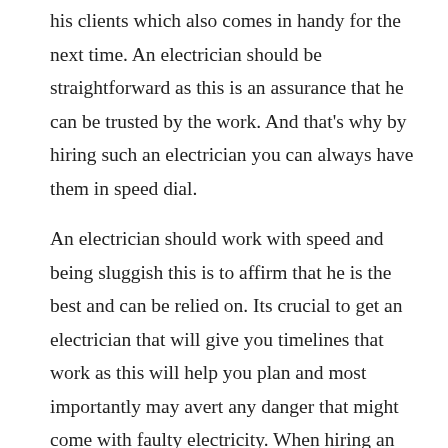his clients which also comes in handy for the next time. An electrician should be straightforward as this is an assurance that he can be trusted by the work. And that's why by hiring such an electrician you can always have them in speed dial.
An electrician should work with speed and being sluggish this is to affirm that he is the best and can be relied on. Its crucial to get an electrician that will give you timelines that work as this will help you plan and most importantly may avert any danger that might come with faulty electricity. When hiring an electrician always consider one that will have a timeline as this is to give you a better chance to plan yourself.